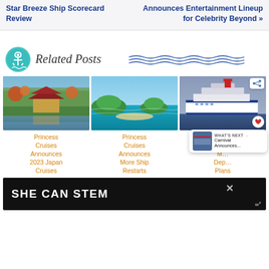Star Breeze Ship Scorecard Review
Announces Entertainment Lineup for Celebrity Beyond »
Related Posts
[Figure (photo): Japanese temple with reflection in pond, autumn foliage]
Princess Cruises Announces 2023 Japan Cruises
[Figure (photo): Tropical island beach with turquoise water]
Princess Cruises Announces More Ship Restarts
[Figure (photo): Carnival cruise ship at sea]
Carnival Announces Deployment Plans
[Figure (infographic): SHE CAN STEM advertisement banner]